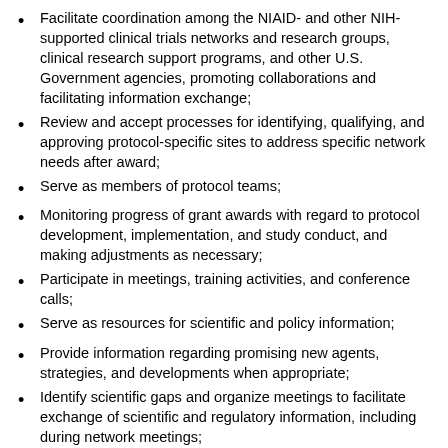Facilitate coordination among the NIAID- and other NIH-supported clinical trials networks and research groups, clinical research support programs, and other U.S. Government agencies, promoting collaborations and facilitating information exchange;
Review and accept processes for identifying, qualifying, and approving protocol-specific sites to address specific network needs after award;
Serve as members of protocol teams;
Monitoring progress of grant awards with regard to protocol development, implementation, and study conduct, and making adjustments as necessary;
Participate in meetings, training activities, and conference calls;
Serve as resources for scientific and policy information;
Provide information regarding promising new agents, strategies, and developments when appropriate;
Identify scientific gaps and organize meetings to facilitate exchange of scientific and regulatory information, including during network meetings;
Periodically conduct an independent review of the constituent parts of the network for reliability and compliance with division's regulatory requirements;